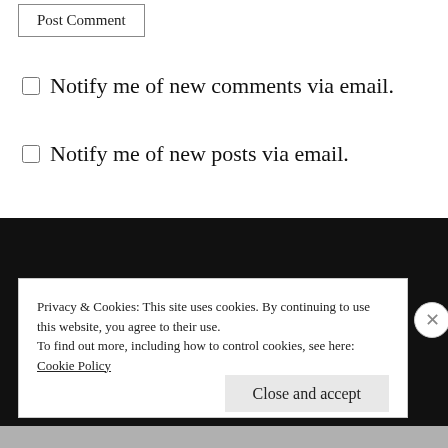[Figure (screenshot): Post Comment button, partially visible at top]
Notify me of new comments via email.
Notify me of new posts via email.
Privacy & Cookies: This site uses cookies. By continuing to use this website, you agree to their use.
To find out more, including how to control cookies, see here: Cookie Policy
Close and accept